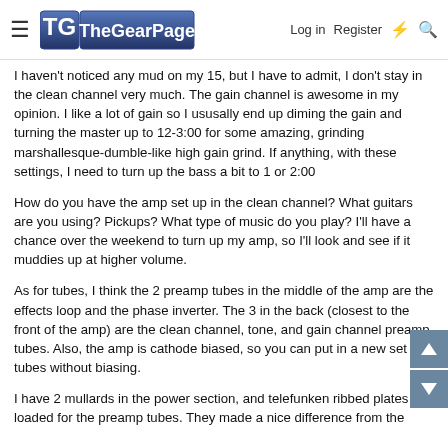The Gear Page — Log in | Register
I haven't noticed any mud on my 15, but I have to admit, I don't stay in the clean channel very much. The gain channel is awesome in my opinion. I like a lot of gain so I ususally end up diming the gain and turning the master up to 12-3:00 for some amazing, grinding marshallesque-dumble-like high gain grind. If anything, with these settings, I need to turn up the bass a bit to 1 or 2:00
How do you have the amp set up in the clean channel? What guitars are you using? Pickups? What type of music do you play? I'll have a chance over the weekend to turn up my amp, so I'll look and see if it muddies up at higher volume.
As for tubes, I think the 2 preamp tubes in the middle of the amp are the effects loop and the phase inverter. The 3 in the back (closest to the front of the amp) are the clean channel, tone, and gain channel preamp tubes. Also, the amp is cathode biased, so you can put in a new set of tubes without biasing.
I have 2 mullards in the power section, and telefunken ribbed plates loaded for the preamp tubes. They made a nice difference from the